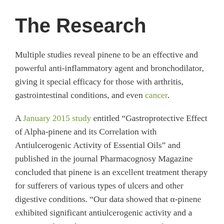The Research
Multiple studies reveal pinene to be an effective and powerful anti-inflammatory agent and bronchodilator, giving it special efficacy for those with arthritis, gastrointestinal conditions, and even cancer.
A January 2015 study entitled “Gastroprotective Effect of Alpha-pinene and its Correlation with Antiulcerogenic Activity of Essential Oils” and published in the journal Pharmacognosy Magazine concluded that pinene is an excellent treatment therapy for sufferers of various types of ulcers and other digestive conditions. “Our data showed that α-pinene exhibited significant antiulcerogenic activity and a great correlation between concentration of α-pinene and gastroprotective effect,”